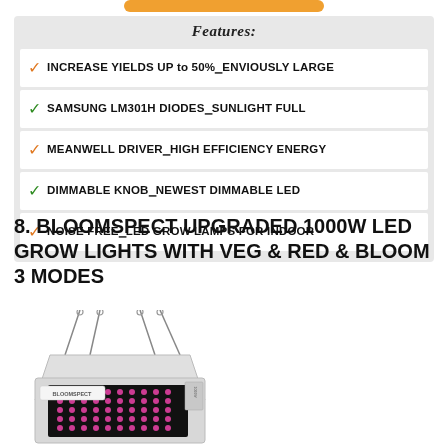[Figure (other): Orange button/bar at top of page]
| Features: |
| --- |
| ✓ INCREASE YIELDS UP to 50%–ENVIOUSLY LARGE |
| ✓ SAMSUNG LM301H DIODES–SUNLIGHT FULL |
| ✓ MEANWELL DRIVER–HIGH EFFICIENCY ENERGY |
| ✓ DIMMABLE KNOB–NEWEST DIMMABLE LED |
| ✓ NOISE FREE–LED GROW LAMPS FOR INDOOR |
8. BLOOMSPECT UPGRADED 1000W LED GROW LIGHTS WITH VEG & RED & BLOOM 3 MODES
[Figure (photo): BLOOMSPECT LED grow light panel hanging by cables, white rectangular body with pink/purple LED array, brand label visible]